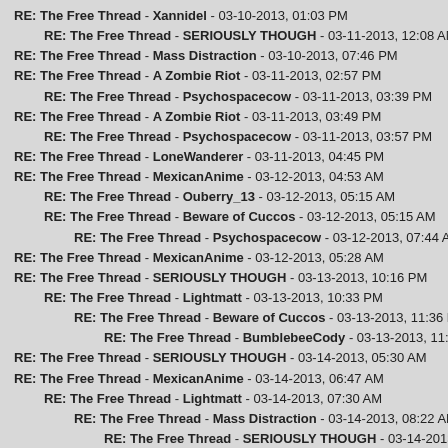RE: The Free Thread - Xannidel - 03-10-2013, 01:03 PM
RE: The Free Thread - SERIOUSLY THOUGH - 03-11-2013, 12:08 AM
RE: The Free Thread - Mass Distraction - 03-10-2013, 07:46 PM
RE: The Free Thread - A Zombie Riot - 03-11-2013, 02:57 PM
RE: The Free Thread - Psychospacecow - 03-11-2013, 03:39 PM
RE: The Free Thread - A Zombie Riot - 03-11-2013, 03:49 PM
RE: The Free Thread - Psychospacecow - 03-11-2013, 03:57 PM
RE: The Free Thread - LoneWanderer - 03-11-2013, 04:45 PM
RE: The Free Thread - MexicanAnime - 03-12-2013, 04:53 AM
RE: The Free Thread - Ouberry_13 - 03-12-2013, 05:15 AM
RE: The Free Thread - Beware of Cuccos - 03-12-2013, 05:15 AM
RE: The Free Thread - Psychospacecow - 03-12-2013, 07:44 AM
RE: The Free Thread - MexicanAnime - 03-12-2013, 05:28 AM
RE: The Free Thread - SERIOUSLY THOUGH - 03-13-2013, 10:16 PM
RE: The Free Thread - Lightmatt - 03-13-2013, 10:33 PM
RE: The Free Thread - Beware of Cuccos - 03-13-2013, 11:36 PM
RE: The Free Thread - BumblebeeCody - 03-13-2013, 11:43 PM
RE: The Free Thread - SERIOUSLY THOUGH - 03-14-2013, 05:30 AM
RE: The Free Thread - MexicanAnime - 03-14-2013, 06:47 AM
RE: The Free Thread - Lightmatt - 03-14-2013, 07:30 AM
RE: The Free Thread - Mass Distraction - 03-14-2013, 08:22 AM
RE: The Free Thread - SERIOUSLY THOUGH - 03-14-2013, 08:56 AM
RE: The Free Thread - MexicanAnime - 03-14-2013, 09:22 AM
RE: The Free Thread - SERIOUSLY THOUGH - 03-14-2013, 07:46 AM
RE: The Free Thread - cingchris - 03-14-2013, 12:24 PM